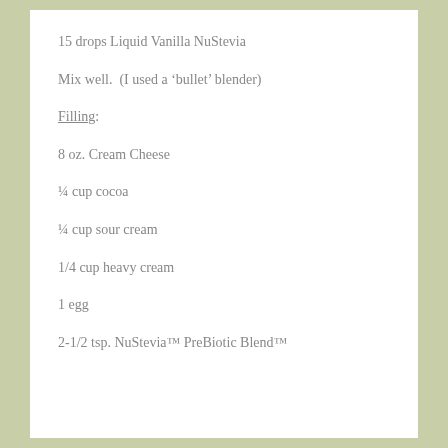15 drops Liquid Vanilla NuStevia
Mix well.  (I used a 'bullet' blender)
Filling:
8 oz. Cream Cheese
¼ cup cocoa
¼ cup sour cream
1/4 cup heavy cream
1 egg
2-1/2 tsp. NuStevia™ PreBiotic Blend™